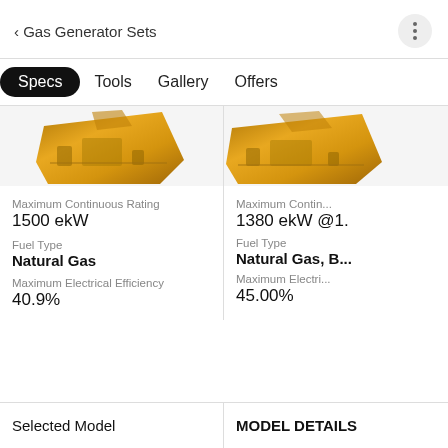Gas Generator Sets
Specs
Tools
Gallery
Offers
[Figure (photo): Yellow/gold CAT gas generator set, left product card]
Maximum Continuous Rating
1500 ekW
Fuel Type
Natural Gas
Maximum Electrical Efficiency
40.9%
[Figure (photo): Yellow/gold CAT gas generator set, right product card (partially visible)]
Maximum Contin...
1380 ekW @1...
Fuel Type
Natural Gas, B...
Maximum Electri...
45.00%
Selected Model
MODEL DETAILS